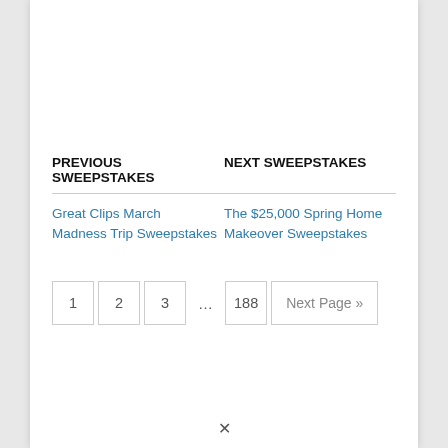PREVIOUS SWEEPSTAKES  NEXT SWEEPSTAKES
Great Clips March Madness Trip Sweepstakes	The $25,000 Spring Home Makeover Sweepstakes
1  2  3  ...  188  Next Page »